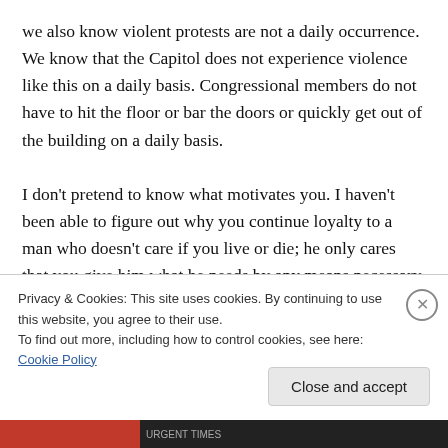we also know violent protests are not a daily occurrence. We know that the Capitol does not experience violence like this on a daily basis. Congressional members do not have to hit the floor or bar the doors or quickly get out of the building on a daily basis.

I don't pretend to know what motivates you. I haven't been able to figure out why you continue loyalty to a man who doesn't care if you live or die; he only cares that you give him what he needs by any means necessary. And just because you served him loyally for nearly four years,
Privacy & Cookies: This site uses cookies. By continuing to use this website, you agree to their use.
To find out more, including how to control cookies, see here: Cookie Policy
Close and accept